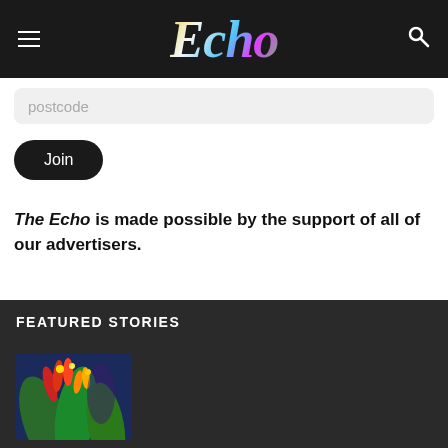Echo
postcode
Join
The Echo is made possible by the support of all of our advertisers.
FEATURED STORIES
[Figure (illustration): Colorful tropical plant illustration with red, orange and yellow flowers against a blue-purple background]
[Figure (photo): Fire and smoke rising from a building]
Fire in abandoned bowlo at Murwillumbah